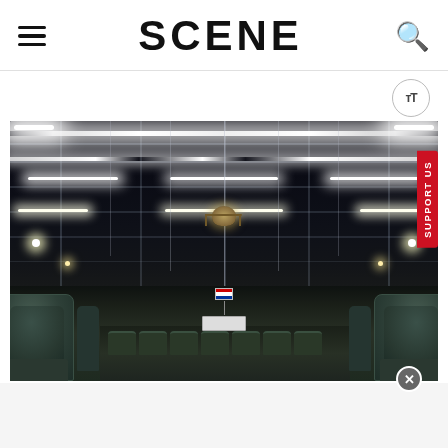SCENE
[Figure (photo): Interior of a large arena or theater venue viewed from a rear seat, showing an elaborate overhead rigging and LED lighting grid with trusses, stage lighting bars, and a chandelier hanging from the center. Green/teal upholstered theater seats are visible in the foreground on both sides, with a podium and small American flag visible at stage level in the background. The arena ceiling is dark with bright LED strip lights.]
SUPPORT US